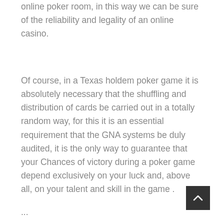online poker room, in this way we can be sure of the reliability and legality of an online casino.
Of course, in a Texas holdem poker game it is absolutely necessary that the shuffling and distribution of cards be carried out in a totally random way, for this it is an essential requirement that the GNA systems be duly audited, it is the only way to guarantee that your Chances of victory during a poker game depend exclusively on your luck and, above all, on your talent and skill in the game .
...